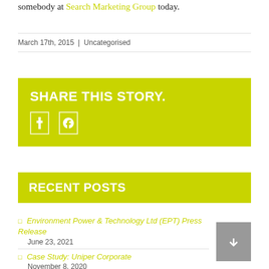somebody at Search Marketing Group today.
March 17th, 2015 | Uncategorised
SHARE THIS STORY.
RECENT POSTS
Environment Power & Technology Ltd (EPT) Press Release — June 23, 2021
Case Study: Uniper Corporate — November 8, 2020